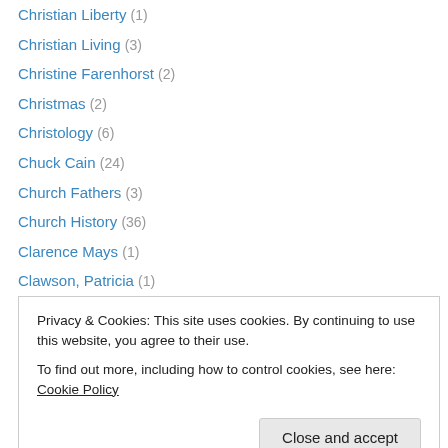Christian Liberty (1)
Christian Living (3)
Christine Farenhorst (2)
Christmas (2)
Christology (6)
Chuck Cain (24)
Church Fathers (3)
Church History (36)
Clarence Mays (1)
Clawson, Patricia (1)
Commentary (88)
Communion of Saints (1)
Conversion (2)
Privacy & Cookies: This site uses cookies. By continuing to use this website, you agree to their use. To find out more, including how to control cookies, see here: Cookie Policy
Creeds (4)